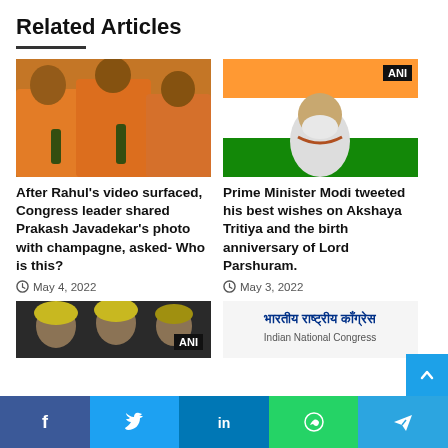Related Articles
[Figure (photo): Men in orange clothing holding bottles at a party]
After Rahul’s video surfaced, Congress leader shared Prakash Javadekar’s photo with champagne, asked- Who is this?
May 4, 2022
[Figure (photo): Prime Minister Modi speaking in front of Indian flag, ANI watermark]
Prime Minister Modi tweeted his best wishes on Akshaya Tritiya and the birth anniversary of Lord Parshuram.
May 3, 2022
[Figure (photo): Men in turbans, ANI badge]
[Figure (photo): Indian National Congress logo and text भारतीय राष्ट्रीय कांग्रेस Indian National Congress]